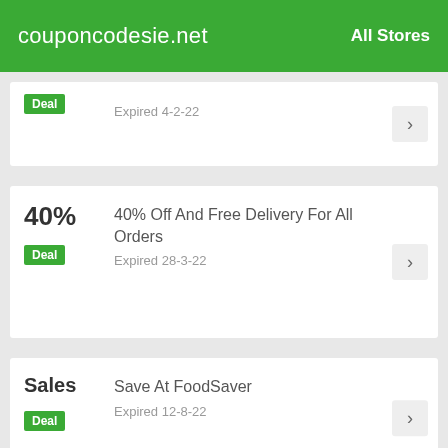couponcodesie.net  All Stores
Deal  Expired 4-2-22
40%  40% Off And Free Delivery For All Orders  Deal  Expired 28-3-22
Sales  Save At FoodSaver  Deal  Expired 12-8-22
20%  Additional 20% Reduction Bag &